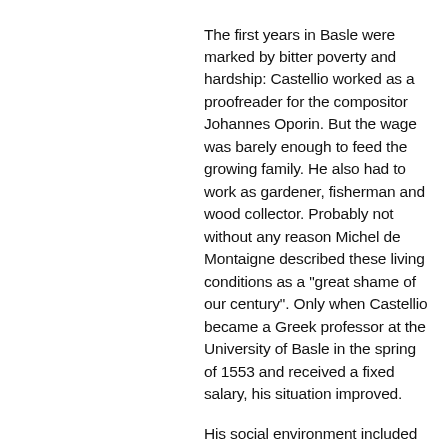The first years in Basle were marked by bitter poverty and hardship: Castellio worked as a proofreader for the compositor Johannes Oporin. But the wage was barely enough to feed the growing family. He also had to work as gardener, fisherman and wood collector. Probably not without any reason Michel de Montaigne described these living conditions as a "great shame of our century". Only when Castellio became a Greek professor at the University of Basle in the spring of 1553 and received a fixed salary, his situation improved.
His social environment included not only the mentioned religious refugees as well as compositors and members of the university, but also reputable Basle residents like the council counsellor Bonifacius Amerbach, the schoolmaster Thomas Platter and Simon Sulzer the